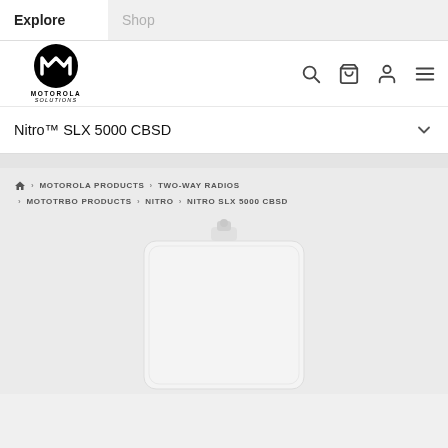Explore | Shop
[Figure (logo): Motorola Solutions logo: circular M badge with MOTOROLA SOLUTIONS text below]
Nitro™ SLX 5000 CBSD
MOTOROLA PRODUCTS > TWO-WAY RADIOS > MOTOTRBO PRODUCTS > NITRO > NITRO SLX 5000 CBSD
[Figure (photo): White rectangular radio device (Nitro SLX 5000 CBSD) with antenna on top, shown against light gray background]